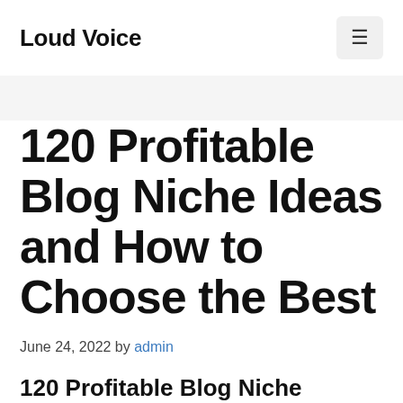Loud Voice
120 Profitable Blog Niche Ideas and How to Choose the Best
June 24, 2022 by admin
120 Profitable Blog Niche